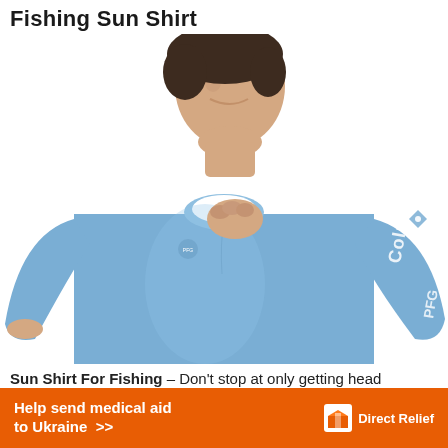Fishing Sun Shirt
[Figure (photo): Man wearing a blue Columbia PFG long-sleeve fishing sun shirt, showing the Columbia logo and PFG on the sleeve, holding the collar area.]
Sun Shirt For Fishing – Don't stop at only getting head protection, you also need to protect your chest, back, arms, and torso. According to the researchers finding
[Figure (infographic): Orange banner advertisement: 'Help send medical aid to Ukraine >>' with Direct Relief logo and text on the right.]